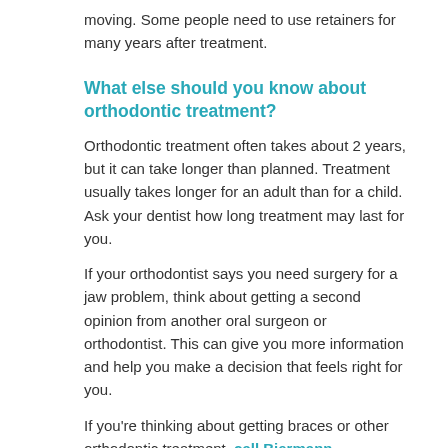moving. Some people need to use retainers for many years after treatment.
What else should you know about orthodontic treatment?
Orthodontic treatment often takes about 2 years, but it can take longer than planned. Treatment usually takes longer for an adult than for a child. Ask your dentist how long treatment may last for you.
If your orthodontist says you need surgery for a jaw problem, think about getting a second opinion from another oral surgeon or orthodontist. This can give you more information and help you make a decision that feels right for you.
If you're thinking about getting braces or other orthodontic treatment, call Biermann Orthodontics today for a free consultation!